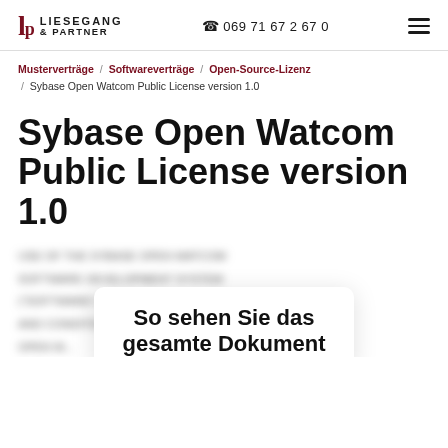Liesegang & Partner | ☎ 069 71 67 2 67 0
Musterverträge / Softwareverträge / Open-Source-Lizenz / Sybase Open Watcom Public License version 1.0
Sybase Open Watcom Public License version 1.0
[blurred document content]
So sehen Sie das gesamte Dokument